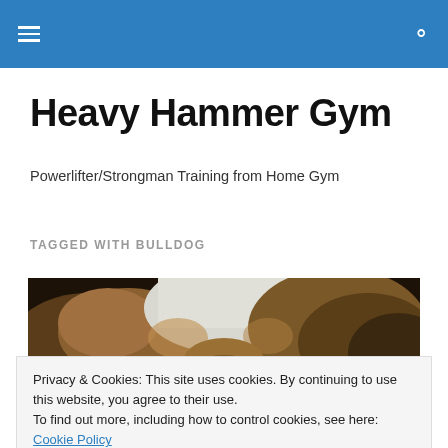Heavy Hammer Gym — navigation bar with hamburger menu and search icon
Heavy Hammer Gym
Powerlifter/Strongman Training from Home Gym
TAGGED WITH BULLDOG
[Figure (photo): Photo of a bulldog viewed from above, shown partially cropped at the top.]
Privacy & Cookies: This site uses cookies. By continuing to use this website, you agree to their use.
To find out more, including how to control cookies, see here: Cookie Policy
Close and accept